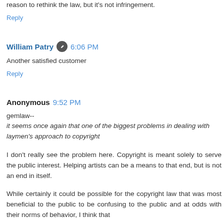reason to rethink the law, but it's not infringement.
Reply
William Patry 6:06 PM
Another satisfied customer
Reply
Anonymous 9:52 PM
gemlaw--
it seems once again that one of the biggest problems in dealing with laymen's approach to copyright
I don't really see the problem here. Copyright is meant solely to serve the public interest. Helping artists can be a means to that end, but is not an end in itself.
While certainly it could be possible for the copyright law that was most beneficial to the public to be confusing to the public and at odds with their norms of behavior, I think that